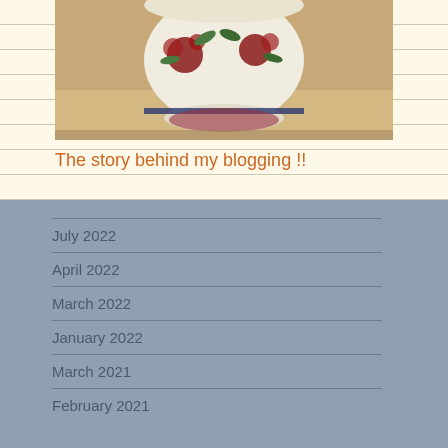[Figure (photo): Photo of a decorative ceramic tea cup or pot with floral (rose) pattern in red and green on white, with a dark blue stripe, sitting on a surface.]
The story behind my blogging !!
July 2022
April 2022
March 2022
January 2022
March 2021
February 2021